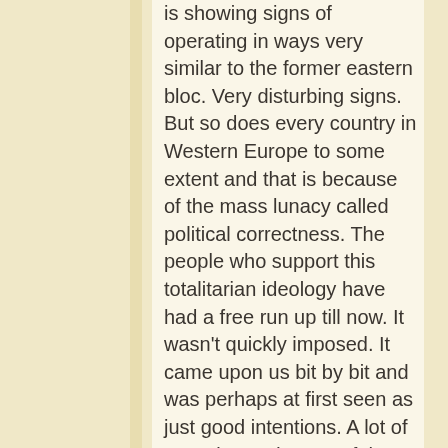is showing signs of operating in ways very similar to the former eastern bloc. Very disturbing signs. But so does every country in Western Europe to some extent and that is because of the mass lunacy called political correctness. The people who support this totalitarian ideology have had a free run up till now. It wasn't quickly imposed. It came upon us bit by bit and was perhaps at first seen as just good intentions. A lot of us welcomed some of the aspects. But it morphed into a monstrosity that people were slow to wake up to. Increasing numbers are now awake across the continent as you know. This is true even in sluggish Britain. And they are speaking out. Tommy Robinson was slightly ahead of his time and